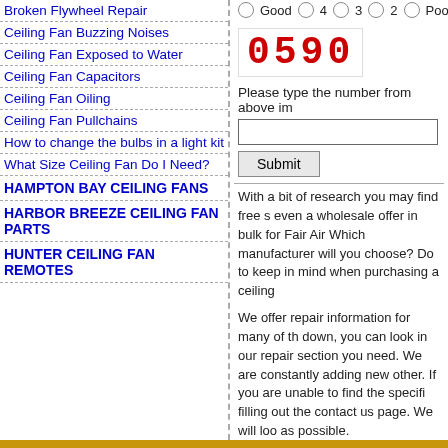Broken Flywheel Repair
Ceiling Fan Buzzing Noises
Ceiling Fan Exposed to Water
Ceiling Fan Capacitors
Ceiling Fan Oiling
Ceiling Fan Pullchains
How to change the bulbs in a light kit
What Size Ceiling Fan Do I Need?
HAMPTON BAY CEILING FANS
HARBOR BREEZE CEILING FAN PARTS
HUNTER CEILING FAN REMOTES
Good 4 3 2 Poo
[Figure (other): CAPTCHA image showing red digits: 0590]
Please type the number from above im
Submit
With a bit of research you may find free s even a wholesale offer in bulk for Fair Air Which manufacturer will you choose? Do to keep in mind when purchasing a ceiling
We offer repair information for many of th down, you can look in our repair section you need. We are constantly adding new other. If you are unable to find the specifi filling out the contact us page. We will loo as possible.
As always, Kajiji, Craigslist and E-bay ar replacement part that you require. Just k websites and we cannot help you with pu